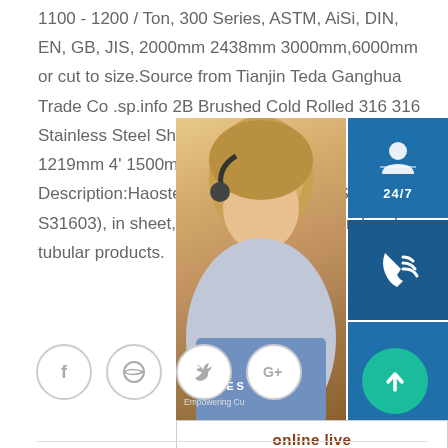1100 - 1200 / Ton, 300 Series, ASTM, AiSi, DIN, EN, GB, JIS, 2000mm 2438mm 3000mm,6000mm or cut to size.Source from Tianjin Teda Ganghua Trade Co .sp.info 2B Brushed Cold Rolled 316 316 Stainless Steel SheetStainless Steel She 316 316L 1219mm 4' 1500mm 5' Widt Finish. Description:Haosteel Stainless in (UNS S31600 / S31603), in sheet, sheet coil, bar, structural and tubular products.
[Figure (infographic): Customer service sidebar widget showing a woman with headset, 24/7 support badge, phone icon, Skype icon, and 'online live' button]
[Figure (infographic): Social media share buttons: Facebook, Dribbble, Twitter, Google+ icons in circular outlines, and a teal up-arrow scroll-to-top button]